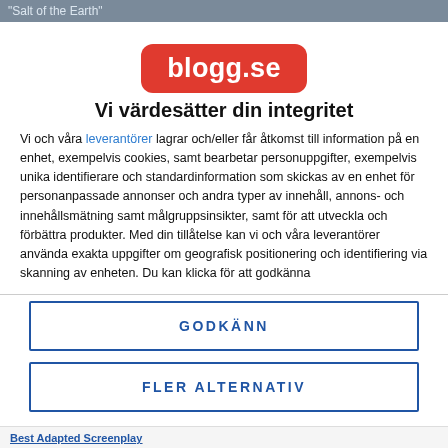"Salt of the Earth"
[Figure (logo): blogg.se logo — white bold text on a red rounded rectangle]
Vi värdesätter din integritet
Vi och våra leverantörer lagrar och/eller får åtkomst till information på en enhet, exempelvis cookies, samt bearbetar personuppgifter, exempelvis unika identifierare och standardinformation som skickas av en enhet för personanpassade annonser och andra typer av innehåll, annons- och innehållsmätning samt målgruppsinsikter, samt för att utveckla och förbättra produkter. Med din tillåtelse kan vi och våra leverantörer använda exakta uppgifter om geografisk positionering och identifiering via skanning av enheten. Du kan klicka för att godkänna
GODKÄNN
FLER ALTERNATIV
Best Adapted Screenplay